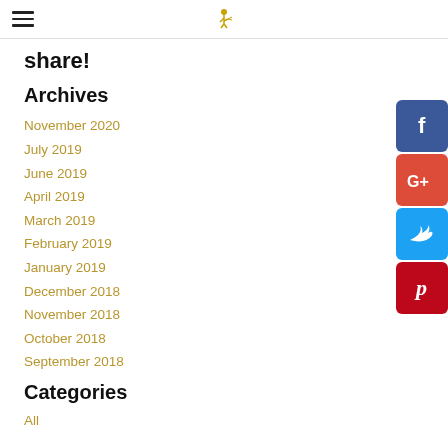Navigation header with hamburger menu and logo
share!
Archives
November 2020
July 2019
June 2019
April 2019
March 2019
February 2019
January 2019
December 2018
November 2018
October 2018
September 2018
Categories
All
[Figure (infographic): Social media share buttons: Facebook (blue), Google+ (red-orange), Twitter (blue), Pinterest (red)]